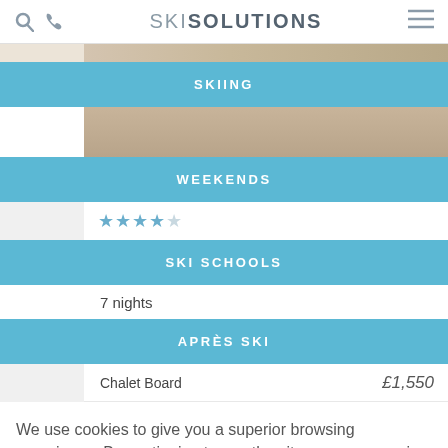SKI SOLUTIONS
SKIING
WEEKENDS
SKI SCHOOLS
7 nights
APRÈS SKI
Chalet Board   £1,550
We use cookies to give you a superior browsing experience. By continuing to use the site you are agreeing to our use of cookies. Find out more here.
Accept